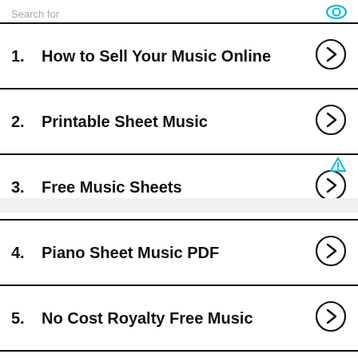Search for
1. How to Sell Your Music Online
2. Printable Sheet Music
3. Free Music Sheets
4. Piano Sheet Music PDF
5. No Cost Royalty Free Music